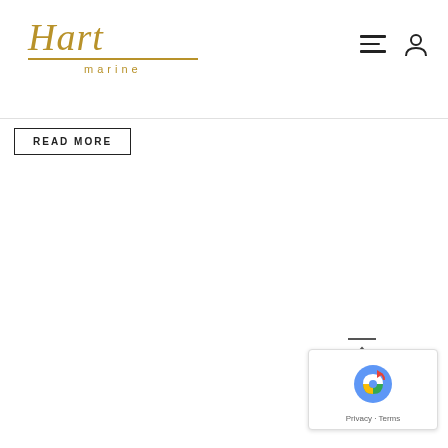Hart Marine logo with navigation icons
READ MORE
[Figure (logo): Hart Marine italic gold logo with underline and 'marine' text below]
[Figure (other): reCAPTCHA badge with Privacy and Terms links]